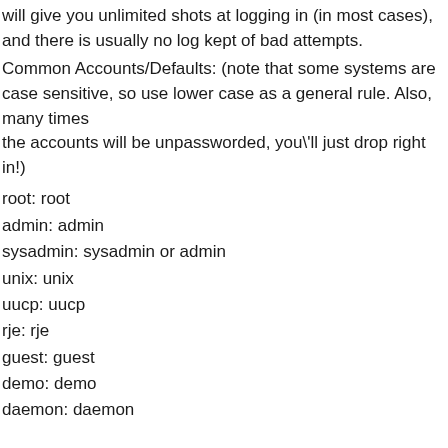will give you unlimited shots at logging in (in most cases), and there is usually no log kept of bad attempts.
Common Accounts/Defaults: (note that some systems are case sensitive, so use lower case as a general rule. Also, many times the accounts will be unpassworded, you'll just drop right in!)
root: root
admin: admin
sysadmin: sysadmin or admin
unix: unix
uucp: uucp
rje: rje
guest: guest
demo: demo
daemon: daemon